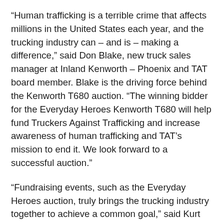“Human trafficking is a terrible crime that affects millions in the United States each year, and the trucking industry can – and is – making a difference,” said Don Blake, new truck sales manager at Inland Kenworth – Phoenix and TAT board member. Blake is the driving force behind the Kenworth T680 auction. “The winning bidder for the Everyday Heroes Kenworth T680 will help fund Truckers Against Trafficking and increase awareness of human trafficking and TAT’s mission to end it. We look forward to a successful auction.”
“Fundraising events, such as the Everyday Heroes auction, truly brings the trucking industry together to achieve a common goal,” said Kurt Swihart, Kenworth marketing director. “The contributions Don Blake has made to make this auction happen is truly admirable. Because of Don, we are able to join forces with others in the trucking industry to fight against human trafficking through the auction of this special Kenworth T680. The money raised from this event will help Truckers Against Trafficking continue to bring justice to those being trafficked.”
The special Kenworth T680 is fully loaded with a 76-inch